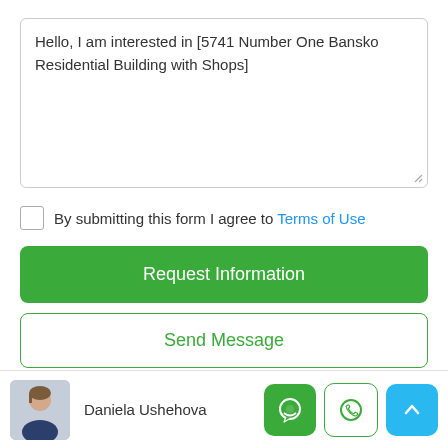Hello, I am interested in [5741 Number One Bansko Residential Building with Shops]
By submitting this form I agree to Terms of Use
Request Information
Send Message
Daniela Ushehova